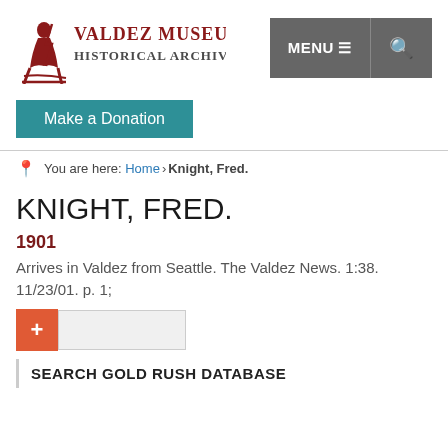[Figure (logo): Valdez Museum & Historical Archive logo with stylized figure and typography]
MENU ☰  🔍
Make a Donation
You are here: Home > Knight, Fred.
KNIGHT, FRED.
1901
Arrives in Valdez from Seattle. The Valdez News. 1:38. 11/23/01. p. 1;
SEARCH GOLD RUSH DATABASE